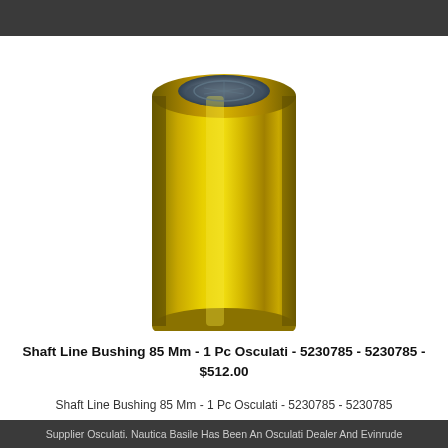[Figure (photo): A cylindrical brass/gold-colored shaft line bushing (tube) viewed from the top-front angle, showing the hollow interior. The bushing has a shiny golden-yellow exterior and a silver-grey interior opening visible at the top.]
Shaft Line Bushing 85 Mm - 1 Pc Osculati - 5230785 - 5230785 - $512.00
Shaft Line Bushing 85 Mm - 1 Pc Osculati - 5230785 - 5230785
Supplier Osculati. Nautica Basile Has Been An Osculati Dealer And Evinrude